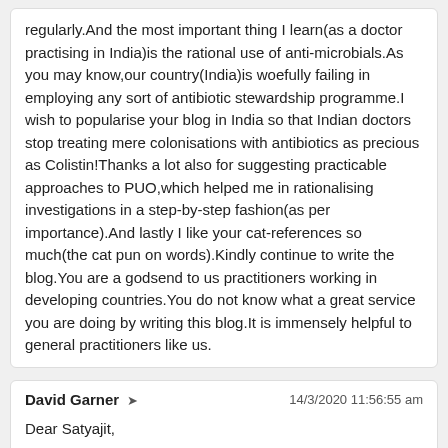regularly.And the most important thing I learn(as a doctor practising in India)is the rational use of anti-microbials.As you may know,our country(India)is woefully failing in employing any sort of antibiotic stewardship programme.I wish to popularise your blog in India so that Indian doctors stop treating mere colonisations with antibiotics as precious as Colistin!Thanks a lot also for suggesting practicable approaches to PUO,which helped me in rationalising investigations in a step-by-step fashion(as per importance).And lastly I like your cat-references so much(the cat pun on words).Kindly continue to write the blog.You are a godsend to us practitioners working in developing countries.You do not know what a great service you are doing by writing this blog.It is immensely helpful to general practitioners like us.
David Garner
14/3/2020 11:56:55 am
Dear Satyajit,
Thank you so much for your inspiring comments. It can at times be hard to fit in writing the blogs around a full time